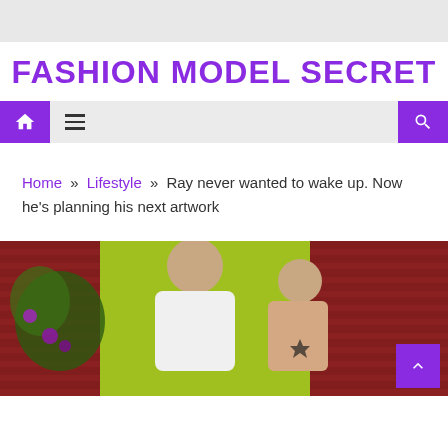FASHION MODEL SECRET
[Figure (screenshot): Navigation bar with home icon, hamburger menu, and search icon on purple/gray background]
Home » Lifestyle » Ray never wanted to wake up. Now he's planning his next artwork
[Figure (photo): Two people laughing against a bright green and red background with plants]